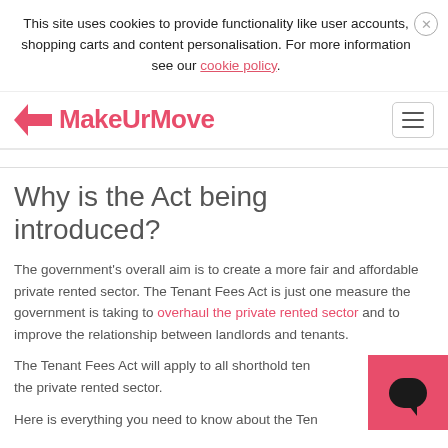This site uses cookies to provide functionality like user accounts, shopping carts and content personalisation. For more information see our cookie policy.
[Figure (logo): MakeUrMove logo with pink arrow icon and pink text]
Why is the Act being introduced?
The government's overall aim is to create a more fair and affordable private rented sector. The Tenant Fees Act is just one measure the government is taking to overhaul the private rented sector and to improve the relationship between landlords and tenants.
The Tenant Fees Act will apply to all shorthold tenancies within the private rented sector.
Here is everything you need to know about the Tenant Fees Act, how this law will affect you and how...